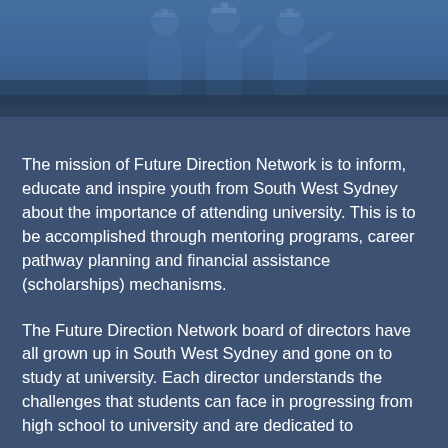[Figure (photo): Photo of graduation ceremony figures in blue-toned overlay at top of page]
The mission of Future Direction Network is to inform, educate and inspire youth from South West Sydney about the importance of attending university. This is to be accomplished through mentoring programs, career pathway planning and financial assistance (scholarships) mechanisms.
The Future Direction Network board of directors have all grown up in South West Sydney and gone on to study at university. Each director understands the challenges that students can face in progressing from high school to university and are dedicated to